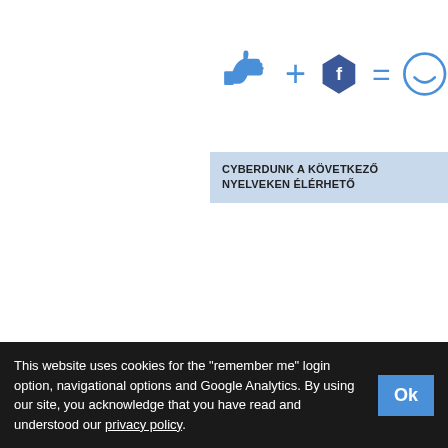[Figure (infographic): Thumbs up icon + Facebook hexagon icon = smiley face icon in blue, partial view on right side]
CYBERDUNK A KÖVETKEZŐ NYELVEKEN ÉLÉRHETŐ
Bosnian
Bulgarian
Chinese ( Simplified )
Chinese ( Traditional )
Croatian
English ( Original )
Estonian
Filipino
French
German
Hungarian
Indonesian
Italian
Korean
Latvian
Portuguese
Romanian
Russian
Serbian
Spanish
This website uses cookies for the "remember me" login option, navigational options and Google Analytics. By using our site, you acknowledge that you have read and understood our privacy policy.